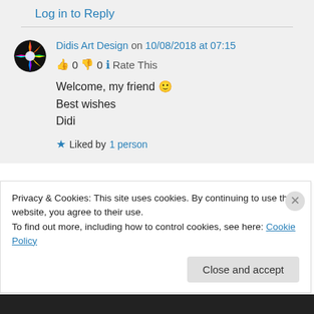Log in to Reply
Didis Art Design on 10/08/2018 at 07:15
👍 0 👎 0 ℹ Rate This
Welcome, my friend 🙂
Best wishes
Didi
★ Liked by 1 person
Privacy & Cookies: This site uses cookies. By continuing to use this website, you agree to their use.
To find out more, including how to control cookies, see here: Cookie Policy
Close and accept